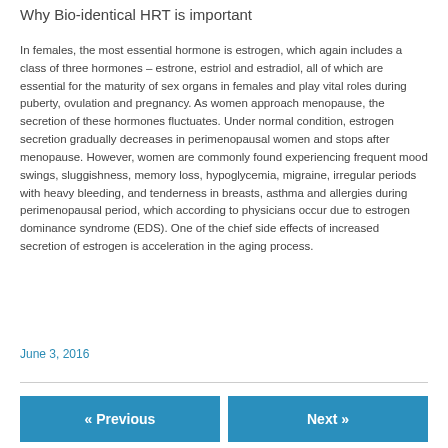Why Bio-identical HRT is important
In females, the most essential hormone is estrogen, which again includes a class of three hormones – estrone, estriol and estradiol, all of which are essential for the maturity of sex organs in females and play vital roles during puberty, ovulation and pregnancy. As women approach menopause, the secretion of these hormones fluctuates. Under normal condition, estrogen secretion gradually decreases in perimenopausal women and stops after menopause. However, women are commonly found experiencing frequent mood swings, sluggishness, memory loss, hypoglycemia, migraine, irregular periods with heavy bleeding, and tenderness in breasts, asthma and allergies during perimenopausal period, which according to physicians occur due to estrogen dominance syndrome (EDS). One of the chief side effects of increased secretion of estrogen is acceleration in the aging process.
June 3, 2016
« Previous | Next »